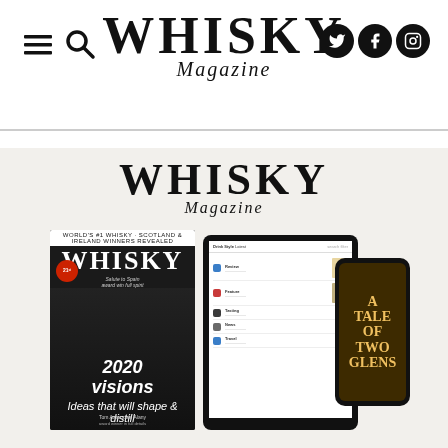Whisky Magazine - Navigation header with hamburger menu, search, social icons (Twitter, Facebook, Instagram), and Whisky Magazine logo
WHISKY Magazine
[Figure (screenshot): Whisky Magazine subscription promotional image showing the magazine logo, a print magazine cover with '2020 visions' feature, a tablet showing digital edition content listing, and a smartphone showing 'A Tale of Two Glens' cover]